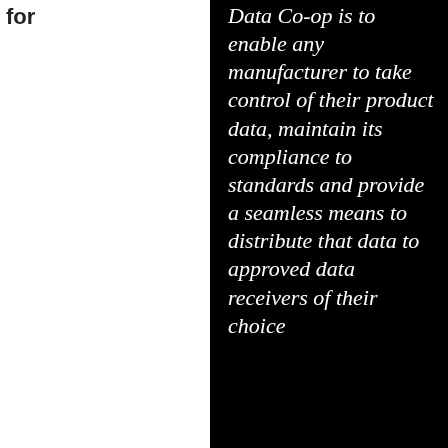for
Data Co-op is to enable any manufacturer to take control of their product data, maintain its compliance to standards and provide a seamless means to distribute that data to approved data receivers of their choice